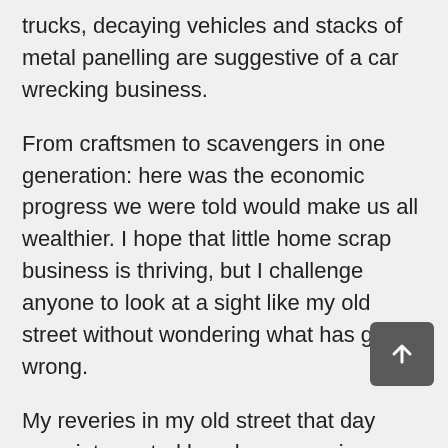trucks, decaying vehicles and stacks of metal panelling are suggestive of a car wrecking business.
From craftsmen to scavengers in one generation: here was the economic progress we were told would make us all wealthier. I hope that little home scrap business is thriving, but I challenge anyone to look at a sight like my old street without wondering what has gone wrong.
My reveries in my old street that day were interrupted by a huge man in a singlet and shorts who stepped out from a driveway to pointedly take my photograph in a manner obviously intended to intimidate. I wondered why, and left, bemused.